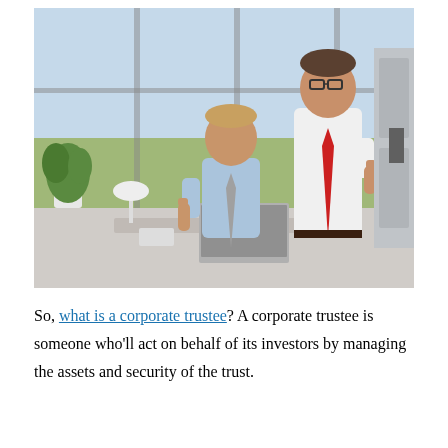[Figure (photo): Two businessmen in an office giving thumbs up. One is seated at a desk with a laptop, lamp, and phone; the other stands behind. Large windows with a city view in the background.]
So, what is a corporate trustee? A corporate trustee is someone who'll act on behalf of its investors by managing the assets and security of the trust.